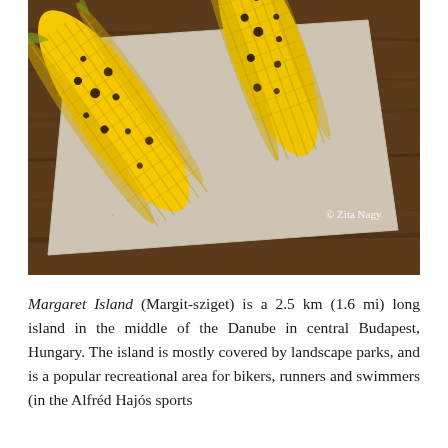[Figure (photo): Two grilled corn cobs on the cob, charred and seasoned, resting on white parchment paper over a wooden surface. Photo credit: © Zita Nagy]
Margaret Island (Margit-sziget) is a 2.5 km (1.6 mi) long island in the middle of the Danube in central Budapest, Hungary. The island is mostly covered by landscape parks, and is a popular recreational area for bikers, runners and swimmers (in the Alfréd Hajós sports